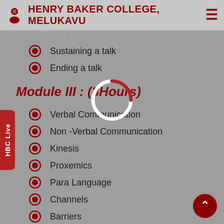HENRY BAKER COLLEGE, MELUKAVU
Sustaining a talk
Ending a talk
Module III : (8Hours)
Verbal Communication
Non -Verbal Communication
Kinesis
Proxemics
Para Language
Channels
Barriers
Effective talking
Module IV : (9Hours)